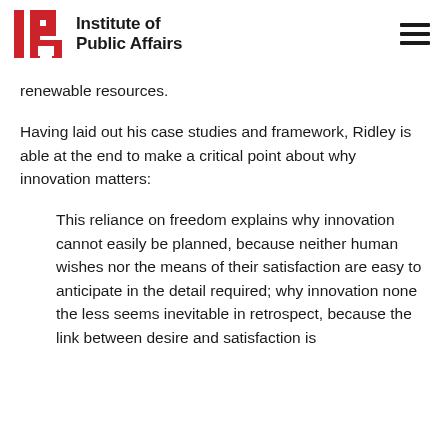Institute of Public Affairs
renewable resources.
Having laid out his case studies and framework, Ridley is able at the end to make a critical point about why innovation matters:
This reliance on freedom explains why innovation cannot easily be planned, because neither human wishes nor the means of their satisfaction are easy to anticipate in the detail required; why innovation none the less seems inevitable in retrospect, because the link between desire and satisfaction is